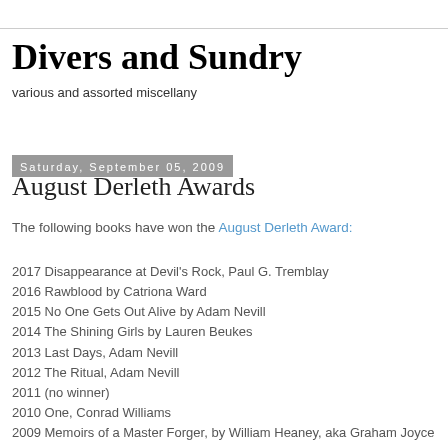Divers and Sundry
various and assorted miscellany
Saturday, September 05, 2009
August Derleth Awards
The following books have won the August Derleth Award:
2017 Disappearance at Devil's Rock, Paul G. Tremblay
2016 Rawblood by Catriona Ward
2015 No One Gets Out Alive by Adam Nevill
2014 The Shining Girls by Lauren Beukes
2013 Last Days, Adam Nevill
2012 The Ritual, Adam Nevill
2011 (no winner)
2010 One, Conrad Williams
2009 Memoirs of a Master Forger, by William Heaney, aka Graham Joyce